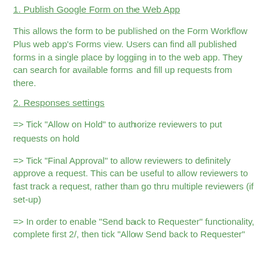1. Publish Google Form on the Web App
This allows the form to be published on the Form Workflow Plus web app's Forms view. Users can find all published forms in a single place by logging in to the web app. They can search for available forms and fill up requests from there.
2. Responses settings
=> Tick "Allow on Hold" to authorize reviewers to put requests on hold
=> Tick "Final Approval" to allow reviewers to definitely approve a request. This can be useful to allow reviewers to fast track a request, rather than go thru multiple reviewers (if set-up)
=> In order to enable "Send back to Requester" functionality, complete first 2/, then tick "Allow Send back to Requester"